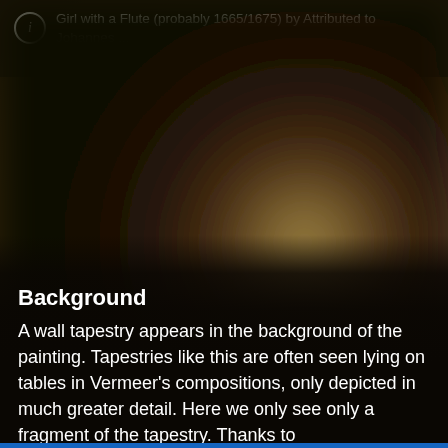Girl with a Flute (probably 1665/1675) by Attributed to Johannes ... National Gallery of Art, Washington DC
[Figure (photo): Blurred, dark brownish painting detail showing a blurred background with warm amber/brown tones suggesting a painted surface — a fragment of Girl with a Flute attributed to Vermeer.]
Background
A wall tapestry appears in the background of the painting. Tapestries like this are often seen lying on tables in Vermeer's compositions, only depicted in much greater detail. Here we only see only a fragment of the tapestry. Thanks to